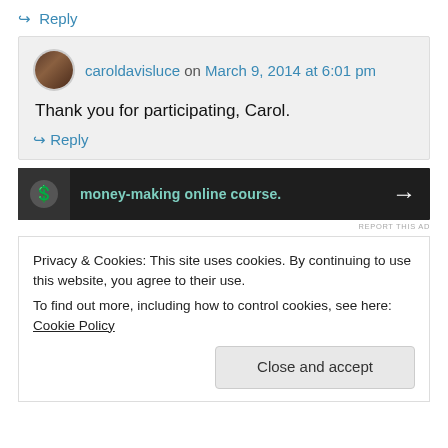↪ Reply
caroldavisluce on March 9, 2014 at 6:01 pm
Thank you for participating, Carol.
↪ Reply
[Figure (infographic): Dark advertisement banner with teal text: 'money-making online course.' with a white arrow and a circular logo icon on the left.]
REPORT THIS AD
Privacy & Cookies: This site uses cookies. By continuing to use this website, you agree to their use.
To find out more, including how to control cookies, see here: Cookie Policy
Close and accept